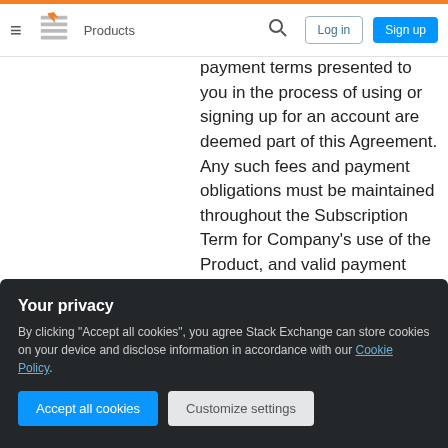≡ [Stack Exchange logo] Products 🔍 Log in Sign up
payment terms presented to you in the process of using or signing up for an account are deemed part of this Agreement. Any such fees and payment obligations must be maintained throughout the Subscription Term for Company's use of the Product, and valid payment information must be maintained at all times during the Subscription Term of...
Your privacy
By clicking "Accept all cookies", you agree Stack Exchange can store cookies on your device and disclose information in accordance with our Cookie Policy.
Accept all cookies   Customize settings
charge Company all fees stated at